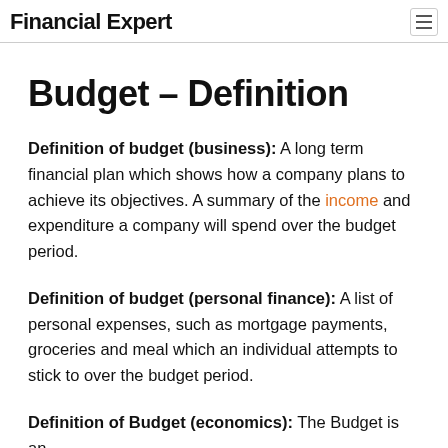Financial Expert
Budget – Definition
Definition of budget (business): A long term financial plan which shows how a company plans to achieve its objectives. A summary of the income and expenditure a company will spend over the budget period.
Definition of budget (personal finance): A list of personal expenses, such as mortgage payments, groceries and meal which an individual attempts to stick to over the budget period.
Definition of Budget (economics): The Budget is an